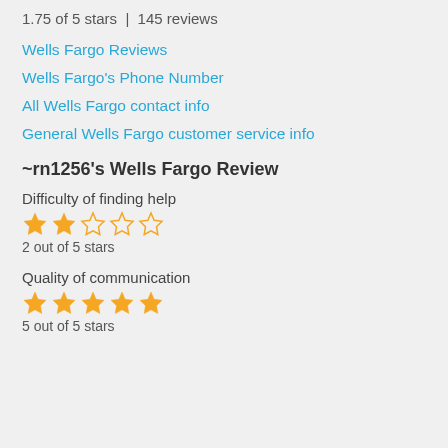1.75 of 5 stars | 145 reviews
Wells Fargo Reviews
Wells Fargo's Phone Number
All Wells Fargo contact info
General Wells Fargo customer service info
~rn1256's Wells Fargo Review
Difficulty of finding help
[Figure (other): 2 out of 5 stars rating (2 filled stars, 3 empty stars)]
2 out of 5 stars
Quality of communication
[Figure (other): 5 out of 5 stars rating (5 filled stars)]
5 out of 5 stars